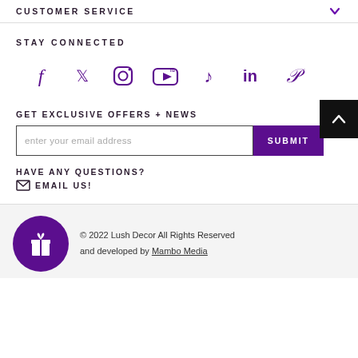CUSTOMER SERVICE
STAY CONNECTED
[Figure (infographic): Social media icons row: Facebook, Twitter, Instagram, YouTube, TikTok, LinkedIn, Pinterest — all in purple]
GET EXCLUSIVE OFFERS + NEWS
enter your email address [input] SUBMIT
HAVE ANY QUESTIONS?
EMAIL US!
© 2022 Lush Decor All Rights Reserved and developed by Mambo Media